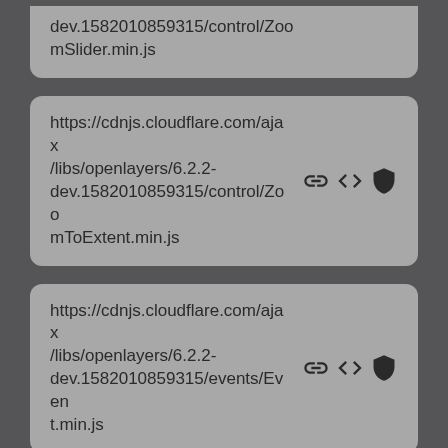dev.1582010859315/control/ZoomSlider.min.js
https://cdnjs.cloudflare.com/ajax/libs/openlayers/6.2.2-dev.1582010859315/control/ZoomToExtent.min.js
https://cdnjs.cloudflare.com/ajax/libs/openlayers/6.2.2-dev.1582010859315/events/Event.min.js
https://cdnjs.cloudflare.com/ajax/libs/openlayers/6.2.2-dev.1582010859315/events/EventType.min.js